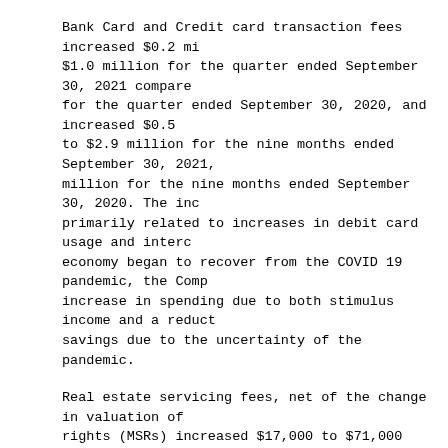Bank Card and Credit card transaction fees increased $0.2 million to $1.0 million for the quarter ended September 30, 2021 compared for the quarter ended September 30, 2020, and increased $0.5 to $2.9 million for the nine months ended September 30, 2021, million for the nine months ended September 30, 2020. The inc primarily related to increases in debit card usage and interc economy began to recover from the COVID 19 pandemic, the Comp increase in spending due to both stimulus income and a reduct savings due to the uncertainty of the pandemic.
Real estate servicing fees, net of the change in valuation of rights (MSRs) increased $17,000 to $71,000 for the quarter en 2021 compared to $54,000 for the quarter ended September 30, $543,000 to $495,000 for the nine months ended September 30, $(48,000) for the nine months ended September 30, 2020.
Mortgage loan servicing fees earned on loans sold were $0.2 m million for the three and nine months ended September 30, 202 compared to $0.2 million and $0.6 million for the three and n September 30, 2020, respectively. The current quarter's MSR v $13,000 from the prior linked quarter primarily due to a decr Company's servicing portfolio. The dramatic drop in market r created an economic incentive for borrowers to refinance the: